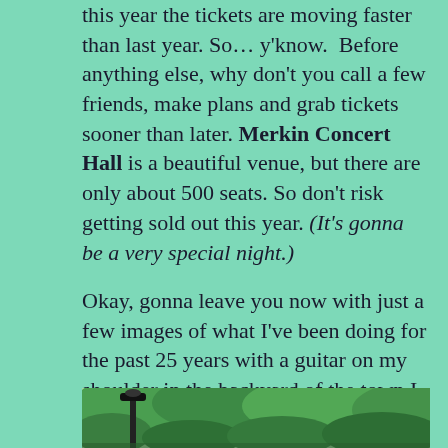this year the tickets are moving faster than last year. So… y'know.  Before anything else, why don't you call a few friends, make plans and grab tickets sooner than later. Merkin Concert Hall is a beautiful venue, but there are only about 500 seats. So don't risk getting sold out this year. (It's gonna be a very special night.)
Okay, gonna leave you now with just a few images of what I've been doing for the past 25 years with a guitar on my shoulder in the backyard of the town I  love.
[Figure (photo): Outdoor photo showing lush green trees and foliage with a lamp post visible in the foreground]